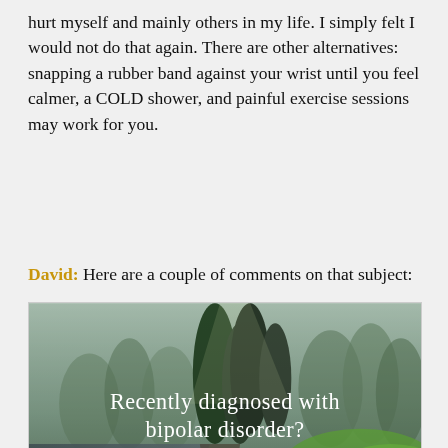hurt myself and mainly others in my life. I simply felt I would not do that again. There are other alternatives: snapping a rubber band against your wrist until you feel calmer, a COLD shower, and painful exercise sessions may work for you.
David: Here are a couple of comments on that subject:
[Figure (photo): A forest scene with a river and trees, overlaid with white text reading 'Recently diagnosed with bipolar disorder?' and bold text 'DOWNLOAD OUR FREE EBOOK NOW.' with a horizontal line beneath.]
advertisement